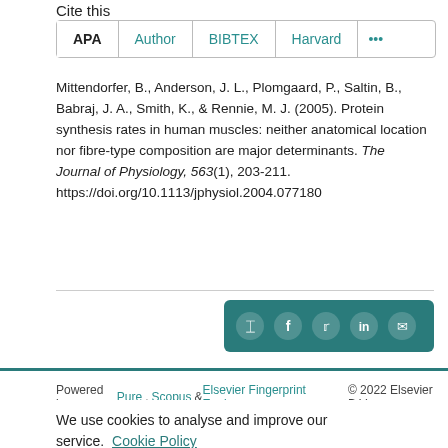Cite this
APA | Author | BIBTEX | Harvard | ...
Mittendorfer, B., Anderson, J. L., Plomgaard, P., Saltin, B., Babraj, J. A., Smith, K., & Rennie, M. J. (2005). Protein synthesis rates in human muscles: neither anatomical location nor fibre-type composition are major determinants. The Journal of Physiology, 563(1), 203-211. https://doi.org/10.1113/jphysiol.2004.077180
[Figure (other): Social share buttons bar: share icon, Facebook, Twitter, LinkedIn, Email icons on teal background]
Powered by Pure, Scopus & Elsevier Fingerprint Engine™ © 2022 Elsevier B.V.
We use cookies to analyse and improve our service. Cookie Policy